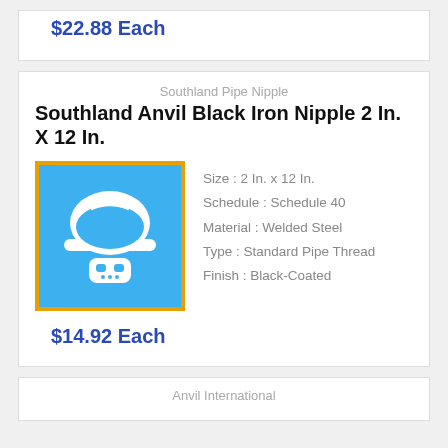$22.88 Each
Southland Pipe Nipple
Southland Anvil Black Iron Nipple 2 In. X 12 In.
[Figure (logo): Blue square with orange border showing a white hard hat with robot face icon]
Size : 2 In. x 12 In.
Schedule : Schedule 40
Material : Welded Steel
Type : Standard Pipe Thread
Finish : Black-Coated
$14.92 Each
Anvil International